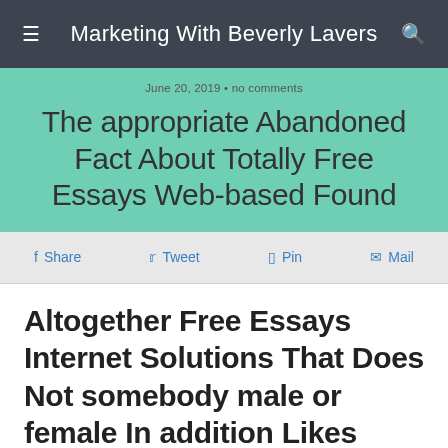Marketing With Beverly Lavers
June 20, 2019 · no comments
The appropriate Abandoned Fact About Totally Free Essays Web-based Found
f Share   🐦 Tweet   📌 Pin   ✉ Mail
Altogether Free Essays Internet Solutions That Does Not somebody male or female In addition Likes About
Creating these kind of type of essay is an amazing